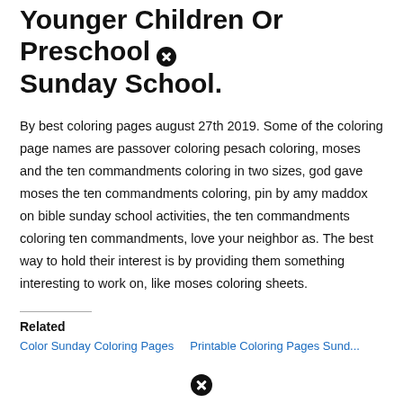Younger Children Or Preschool Sunday School.
By best coloring pages august 27th 2019. Some of the coloring page names are passover coloring pesach coloring, moses and the ten commandments coloring in two sizes, god gave moses the ten commandments coloring, pin by amy maddox on bible sunday school activities, the ten commandments coloring ten commandments, love your neighbor as. The best way to hold their interest is by providing them something interesting to work on, like moses coloring sheets.
Related